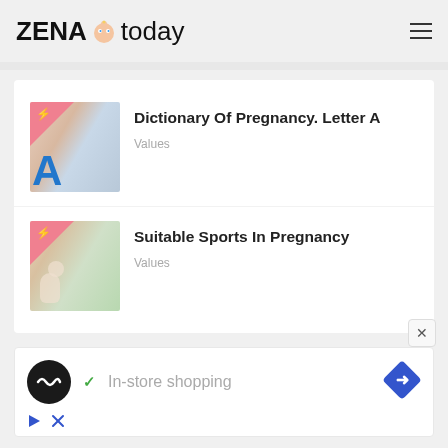ZENA today
Dictionary Of Pregnancy. Letter A
Values
Suitable Sports In Pregnancy
Values
[Figure (screenshot): Advertisement banner with circular logo, checkmark, 'In-store shopping' text, and navigation arrow icon. Includes play button and close (X) controls.]